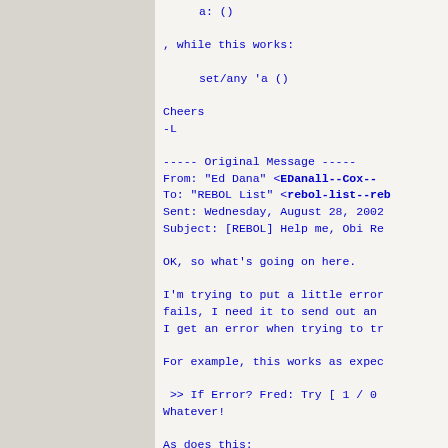a: ()
, while this works:
set/any 'a ()
Cheers
-L
----- Original Message -----
From: "Ed Dana" <[EDanall--Cox--
To: "REBOL List" <[rebol-list--reb
Sent: Wednesday, August 28, 2002
Subject: [REBOL] Help me, Obi Re
OK, so what's going on here.
I'm trying to put a little error
fails, I need it to send out an
I get an error when trying to tr
For example, this works as expec
>> If Error? Fred: Try [ 1 / 0
Whatever!
As does this:
>> If Error? Fred: Try [ 1 / 1